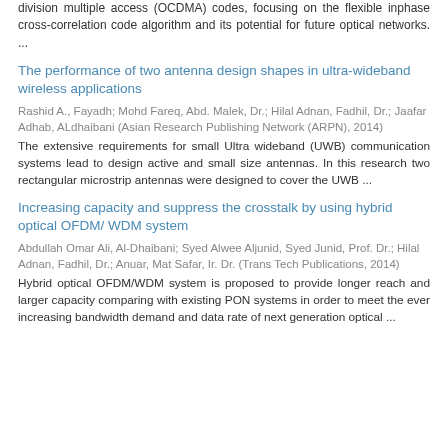division multiple access (OCDMA) codes, focusing on the flexible inphase cross-correlation code algorithm and its potential for future optical networks. ...
The performance of two antenna design shapes in ultra-wideband wireless applications
Rashid A., Fayadh; Mohd Fareq, Abd. Malek, Dr.; Hilal Adnan, Fadhil, Dr.; Jaafar Adhab, ALdhaibani (Asian Research Publishing Network (ARPN), 2014)
The extensive requirements for small Ultra wideband (UWB) communication systems lead to design active and small size antennas. In this research two rectangular microstrip antennas were designed to cover the UWB ...
Increasing capacity and suppress the crosstalk by using hybrid optical OFDM/ WDM system
Abdullah Omar Ali, Al-Dhaibani; Syed Alwee Aljunid, Syed Junid, Prof. Dr.; Hilal Adnan, Fadhil, Dr.; Anuar, Mat Safar, Ir. Dr. (Trans Tech Publications, 2014)
Hybrid optical OFDM/WDM system is proposed to provide longer reach and larger capacity comparing with existing PON systems in order to meet the ever increasing bandwidth demand and data rate of next generation optical ...